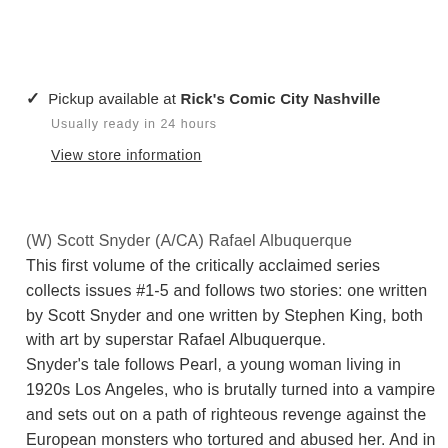✓ Pickup available at Rick's Comic City Nashville
Usually ready in 24 hours
View store information
(W) Scott Snyder (A/CA) Rafael Albuquerque
This first volume of the critically acclaimed series collects issues #1-5 and follows two stories: one written by Scott Snyder and one written by Stephen King, both with art by superstar Rafael Albuquerque.
Snyder's tale follows Pearl, a young woman living in 1920s Los Angeles, who is brutally turned into a vampire and sets out on a path of righteous revenge against the European monsters who tortured and abused her. And in King's story set in the days of America's Wild West, readers learn the origin of